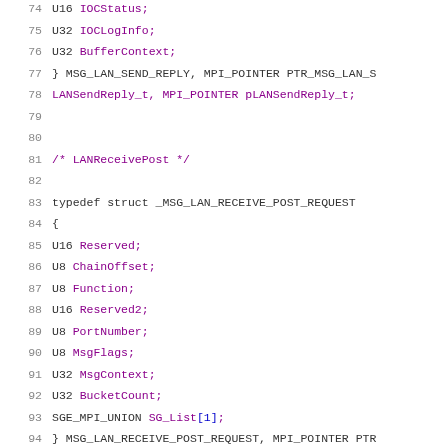74    U16    IOCStatus;
75    U32    IOCLogInfo;
76    U32    BufferContext;
77  } MSG_LAN_SEND_REPLY, MPI_POINTER PTR_MSG_LAN_S
78    LANSendReply_t, MPI_POINTER pLANSendReply_t;
79
80
81  /* LANReceivePost */
82
83  typedef struct _MSG_LAN_RECEIVE_POST_REQUEST
84  {
85      U16    Reserved;
86      U8     ChainOffset;
87      U8     Function;
88      U16    Reserved2;
89      U8     PortNumber;
90      U8     MsgFlags;
91      U32    MsgContext;
92      U32    BucketCount;
93      SGE_MPI_UNION    SG_List[1];
94  } MSG_LAN_RECEIVE_POST_REQUEST, MPI_POINTER PTR
95    LANReceivePostRequest_t, MPI_POINTER pLANRece